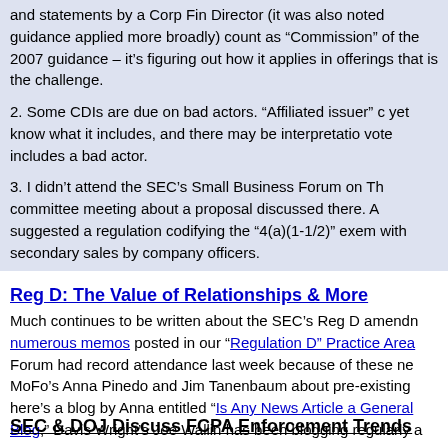and statements by a Corp Fin Director (it was also noted guidance applied more broadly) count as “Commission” of the 2007 guidance – it’s figuring out how it applies in offerings that is the challenge.
2. Some CDIs are due on bad actors. “Affiliated issuer” yet know what it includes, and there may be interpretation vote includes a bad actor.
3. I didn’t attend the SEC’s Small Business Forum on Th committee meeting about a proposal discussed there. A suggested a regulation codifying the “4(a)(1-1/2)” exem with secondary sales by company officers.
Reg D: The Value of Relationships & More
Much continues to be written about the SEC’s Reg D amend numerous memos posted in our “Regulation D” Practice Area Forum had record attendance last week because of these ne MoFo’s Anna Pinedo and Jim Tanenbaum about pre-existing here’s a blog by Anna entitled “Is Any News Article a General Blog,” Davis Wright’s Joe Wallin has been blogging regularly a
SEC & DOJ Discuss FCPA Enforcement Trends